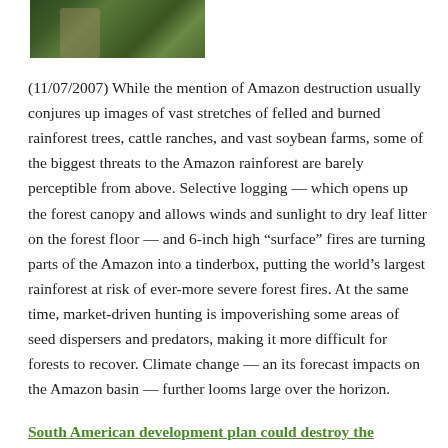[Figure (photo): Photo of a person in a rainforest/jungle setting with green foliage]
(11/07/2007) While the mention of Amazon destruction usually conjures up images of vast stretches of felled and burned rainforest trees, cattle ranches, and vast soybean farms, some of the biggest threats to the Amazon rainforest are barely perceptible from above. Selective logging — which opens up the forest canopy and allows winds and sunlight to dry leaf litter on the forest floor — and 6-inch high “surface” fires are turning parts of the Amazon into a tinderbox, putting the world’s largest rainforest at risk of ever-more severe forest fires. At the same time, market-driven hunting is impoverishing some areas of seed dispersers and predators, making it more difficult for forests to recover. Climate change — an its forecast impacts on the Amazon basin — further looms large over the horizon.
South American development plan could destroy the